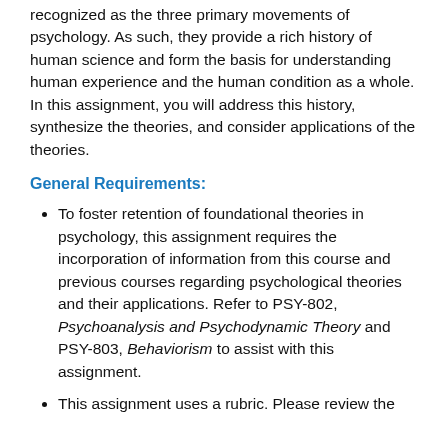recognized as the three primary movements of psychology. As such, they provide a rich history of human science and form the basis for understanding human experience and the human condition as a whole. In this assignment, you will address this history, synthesize the theories, and consider applications of the theories.
General Requirements:
To foster retention of foundational theories in psychology, this assignment requires the incorporation of information from this course and previous courses regarding psychological theories and their applications. Refer to PSY-802, Psychoanalysis and Psychodynamic Theory and PSY-803, Behaviorism to assist with this assignment.
This assignment uses a rubric. Please review the